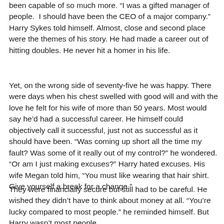been capable of so much more. “I was a gifted manager of people. I should have been the CEO of a major company.” Harry Sykes told himself. Almost, close and second place were the themes of his story. He had made a career out of hitting doubles. He never hit a homer in his life.
Yet, on the wrong side of seventy-five he was happy. There were days when his chest swelled with good will and with the love he felt for his wife of more than 50 years. Most would say he’d had a successful career. He himself could objectively call it successful, just not as successful as it should have been. “Was coming up short all the time my fault? Was some of it really out of my control?” he wondered. “Or am I just making excuses?” Harry hated excuses. His wife Megan told him, “You must like wearing that hair shirt. Give yourself a break for a change.”
They were financially secure but still had to be careful. He wished they didn’t have to think about money at all. “You’re lucky compared to most people.” he reminded himself. But Harry wasn’t most people.